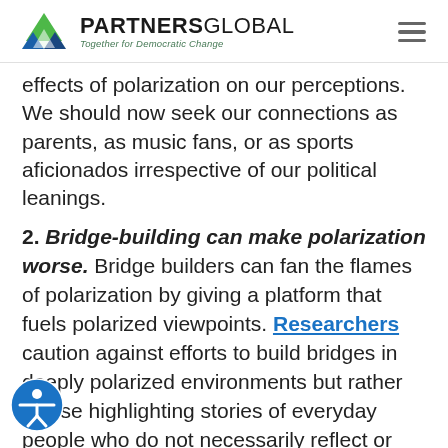PARTNERS GLOBAL — Together for Democratic Change
effects of polarization on our perceptions. We should now seek our connections as parents, as music fans, or as sports aficionados irrespective of our political leanings.
2. Bridge-building can make polarization worse. Bridge builders can fan the flames of polarization by giving a platform that fuels polarized viewpoints. Researchers caution against efforts to build bridges in deeply polarized environments but rather advise highlighting stories of everyday people who do not necessarily reflect or extreme. Senator Tammy Duckworth (D-IL) a tweeted after the election: "So many Trump